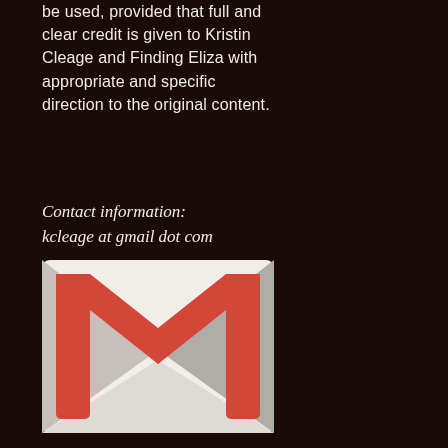be used, provided that full and clear credit is given to Kristin Cleage and Finding Eliza with appropriate and specific direction to the original content.
Contact information: kcleage at gmail dot com
[Figure (logo): Gmail logo — red M-shaped envelope icon on a light background]